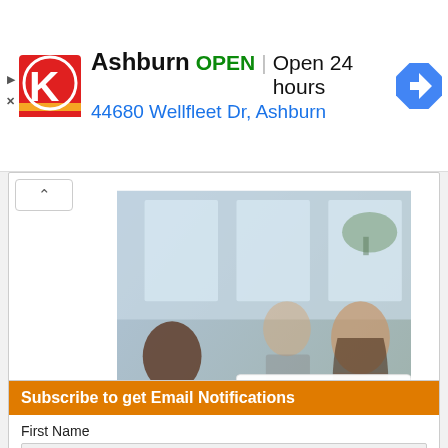[Figure (screenshot): Ad banner for Circle K Ashburn location showing logo, OPEN status, hours (Open 24 hours), address (44680 Wellfleet Dr, Ashburn), and a navigation arrow icon]
[Figure (photo): A person holding a white sign reading WE'RE HIRING in a blurred office environment with people in the background]
Subscribe to get Email Notifications
First Name
Last Name